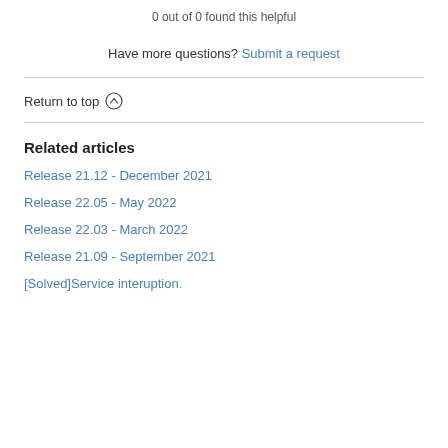0 out of 0 found this helpful
Have more questions? Submit a request
Return to top ↑
Related articles
Release 21.12 - December 2021
Release 22.05 - May 2022
Release 22.03 - March 2022
Release 21.09 - September 2021
[Solved]Service interuption.